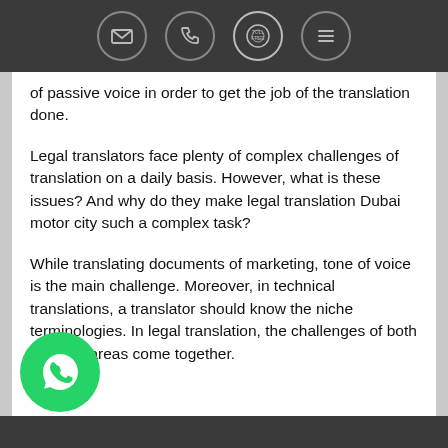[icons: email, phone, toll-free, menu]
of passive voice in order to get the job of the translation done.
Legal translators face plenty of complex challenges of translation on a daily basis. However, what is these issues? And why do they make legal translation Dubai motor city such a complex task?
While translating documents of marketing, tone of voice is the main challenge. Moreover, in technical translations, a translator should know the niche terminologies. In legal translation, the challenges of both of these areas come together.
[Figure (logo): WhatsApp button (green circle with white WhatsApp icon)]